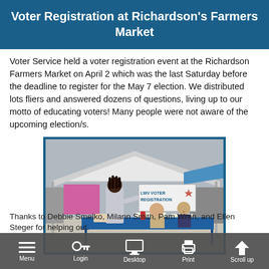Voter Registration at Richardson's Farmers Market
Voter Service held a voter registration event at the Richardson Farmers Market on April 2 which was the last Saturday before the deadline to register for the May 7 election. We distributed lots fliers and answered dozens of questions, living up to our motto of educating voters! Many people were not aware of the upcoming election/s.
[Figure (photo): Photo of a voter registration booth at Richardson's Farmers Market. A person stands at a blue table where two women are seated. A banner reading 'LWV Voter Registration' is visible. Colorful market tents are in the background.]
Thanks to Debbie Smelko, Milann Smith, Pam Wren, and Ellen Steger for helping out.
Menu  Login  Desktop  Print  Scroll up